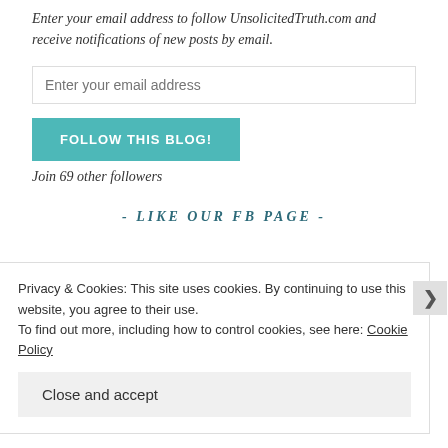Enter your email address to follow UnsolicitedTruth.com and receive notifications of new posts by email.
Enter your email address
FOLLOW THIS BLOG!
Join 69 other followers
- LIKE OUR FB PAGE -
Privacy & Cookies: This site uses cookies. By continuing to use this website, you agree to their use.
To find out more, including how to control cookies, see here: Cookie Policy
Close and accept